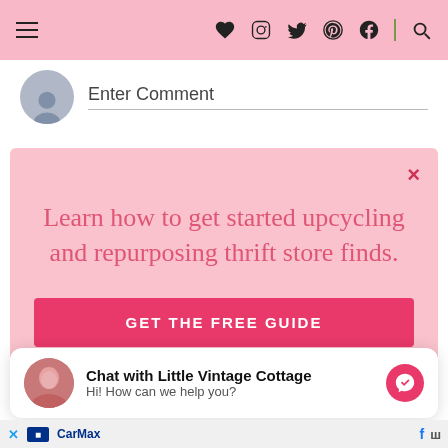Navigation bar with hamburger menu and social icons: heart, Instagram, Twitter, Pinterest, Facebook, search
Enter Comment
[Figure (screenshot): Pink popup modal with close button (×), title text 'Learn how to get started upcycling and repurposing thrift store finds.' and a GET THE FREE GUIDE button]
[Figure (screenshot): Chat widget: 'Chat with Little Vintage Cottage' with subtext 'Hi! How can we help you?' and Messenger icon]
Ad bar with X logo, Carmax ad, and other icons